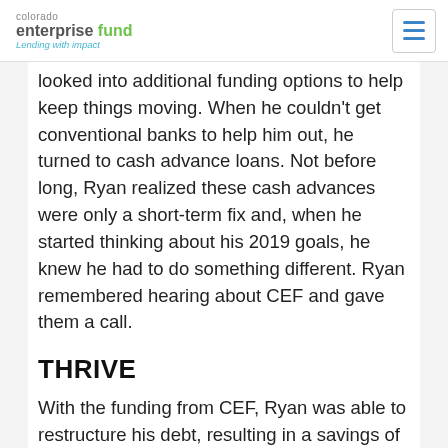colorado enterprise fund — Lending with impact
looked into additional funding options to help keep things moving. When he couldn't get conventional banks to help him out, he turned to cash advance loans. Not before long, Ryan realized these cash advances were only a short-term fix and, when he started thinking about his 2019 goals, he knew he had to do something different. Ryan remembered hearing about CEF and gave them a call.
THRIVE
With the funding from CEF, Ryan was able to restructure his debt, resulting in a savings of about $4,000 a month. Now, he's able to set